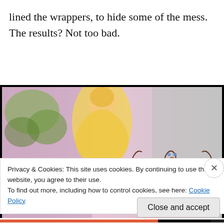lined the wrappers, to hide some of the mess. The results? Not too bad.
[Figure (photo): Close-up photo of princess-themed decorated cupcakes/cookies with a tiara decoration and a Disney princess figure (Belle) visible, pink and yellow color scheme]
Privacy & Cookies: This site uses cookies. By continuing to use this website, you agree to their use.
To find out more, including how to control cookies, see here: Cookie Policy
Close and accept